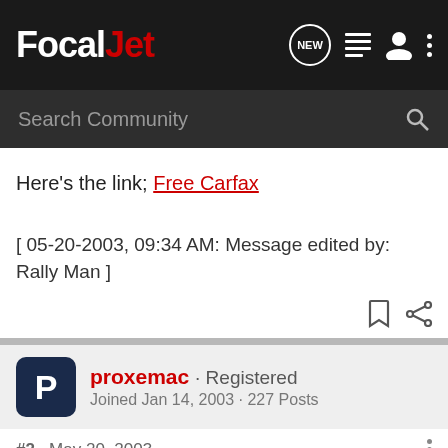FocalJet
Here's the link; Free Carfax
[ 05-20-2003, 09:34 AM: Message edited by: Rally Man ]
proxemac · Registered
Joined Jan 14, 2003 · 227 Posts
#2 · May 20, 2003
Thank you much, Mr. Rally Man.
The report says it was registered as a "commercial lease